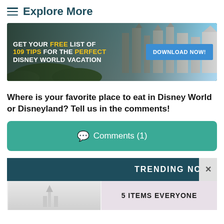☰ Explore More
[Figure (infographic): Disney World castle banner ad. Text: GET YOUR FREE LIST OF 109 TIPS FOR THE PERFECT DISNEY WORLD VACATION with a blue DOWNLOAD NOW! button on the right.]
Where is your favorite place to eat in Disney World or Disneyland? Tell us in the comments!
💬 Comments (1)
TRENDING NOW
5 ITEMS EVERYONE